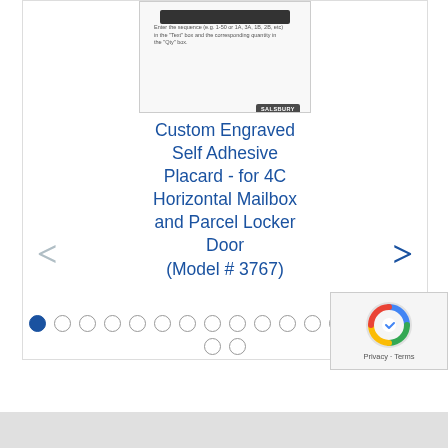[Figure (screenshot): Screenshot of product image thumbnail showing a Salsbury custom engraved self-adhesive placard with text entry interface. Small body text reads: 'Enter the sequence (e.g. 1-50 or 1A, 3A, 1B, 2B, etc) in the "Text" box and the corresponding quantity in the "Qty" box.' SALSBURY badge in lower right.]
Custom Engraved Self Adhesive Placard - for 4C Horizontal Mailbox and Parcel Locker Door (Model # 3767)
[Figure (screenshot): Carousel navigation dots — 18 dots total arranged in two rows (16 on top row, 2 on bottom row). First dot is filled/active (dark blue), rest are empty circles.]
[Figure (screenshot): reCAPTCHA widget overlay showing the reCAPTCHA logo (circular arrows) with 'Privacy - Terms' text below.]